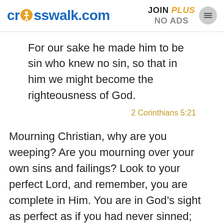crosswalk.com | JOIN PLUS NO ADS
For our sake he made him to be sin who knew no sin, so that in him we might become the righteousness of God.
2 Corinthians 5:21
Mourning Christian, why are you weeping? Are you mourning over your own sins and failings? Look to your perfect Lord, and remember, you are complete in Him. You are in God’s sight as perfect as if you had never sinned; more than that, the Lord our Righteousness has clothed